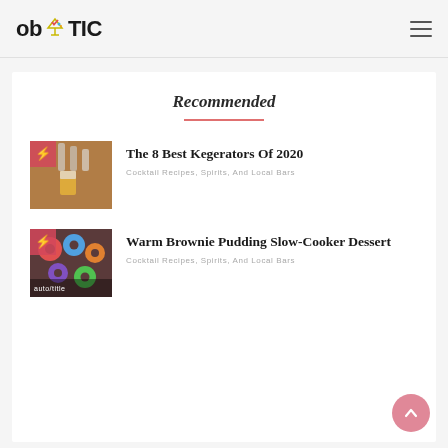ob YTIC
Recommended
[Figure (photo): Beer tap pouring into a glass, thumbnail for kegerator article]
The 8 Best Kegerators Of 2020
Cocktail Recipes, Spirits, And Local Bars
[Figure (photo): Colorful donuts or pastries, thumbnail for brownie pudding article]
Warm Brownie Pudding Slow-Cooker Dessert
Cocktail Recipes, Spirits, And Local Bars